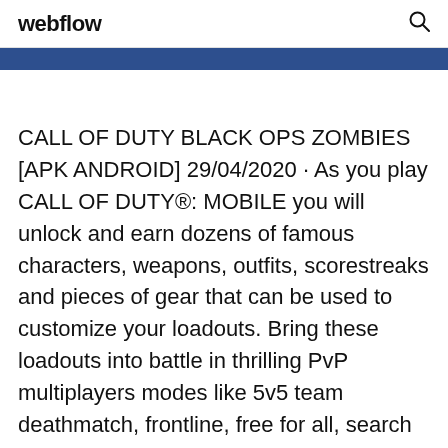webflow
CALL OF DUTY BLACK OPS ZOMBIES [APK ANDROID] 29/04/2020 · As you play CALL OF DUTY®: MOBILE you will unlock and earn dozens of famous characters, weapons, outfits, scorestreaks and pieces of gear that can be used to customize your loadouts. Bring these loadouts into battle in thrilling PvP multiplayers modes like 5v5 team deathmatch, frontline, free for all, search and destroy, and other battle royale modes.